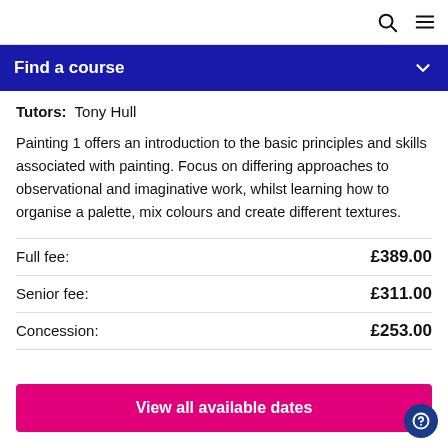🔍 ☰
Find a course
Tutors: Tony Hull
Painting 1 offers an introduction to the basic principles and skills associated with painting. Focus on differing approaches to observational and imaginative work, whilst learning how to organise a palette, mix colours and create different textures.
Full fee: £389.00
Senior fee: £311.00
Concession: £253.00
View all available dates